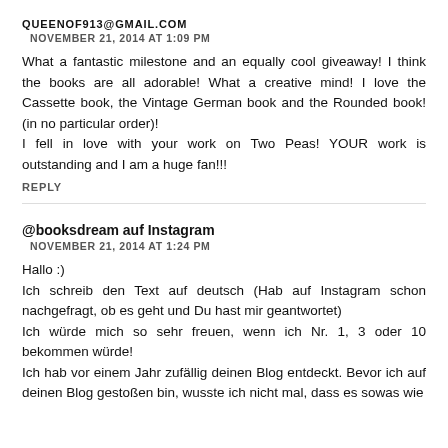QUEENOF913@GMAIL.COM
NOVEMBER 21, 2014 AT 1:09 PM
What a fantastic milestone and an equally cool giveaway! I think the books are all adorable! What a creative mind! I love the Cassette book, the Vintage German book and the Rounded book! (in no particular order)!
I fell in love with your work on Two Peas! YOUR work is outstanding and I am a huge fan!!!
REPLY
@booksdream auf Instagram
NOVEMBER 21, 2014 AT 1:24 PM
Hallo :)
Ich schreib den Text auf deutsch (Hab auf Instagram schon nachgefragt, ob es geht und Du hast mir geantwortet)
Ich würde mich so sehr freuen, wenn ich Nr. 1, 3 oder 10 bekommen würde!
Ich hab vor einem Jahr zufällig deinen Blog entdeckt. Bevor ich auf deinen Blog gestoßen bin, wusste ich nicht mal, dass es sowas wie Scrapbooking gibt, ich habe es aber sofort geliebt! Ich...